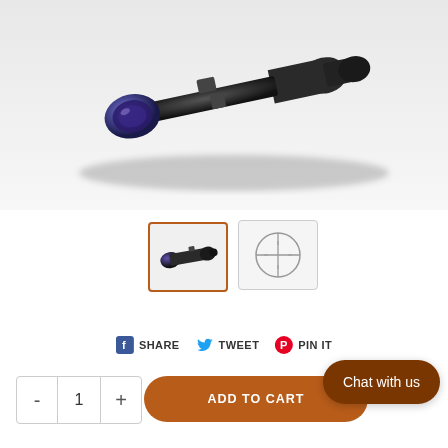[Figure (photo): A rifle scope/riflescope shown diagonally on a white/light gray background. The scope is black with a purple-tinted objective lens on the left end.]
[Figure (photo): Thumbnail of the rifle scope product photo, with an orange/brown active border.]
[Figure (illustration): Thumbnail showing a reticle/crosshair circle diagram on a light gray background.]
SHARE
TWEET
PIN IT
- 1 +
ADD TO CART
Chat with us